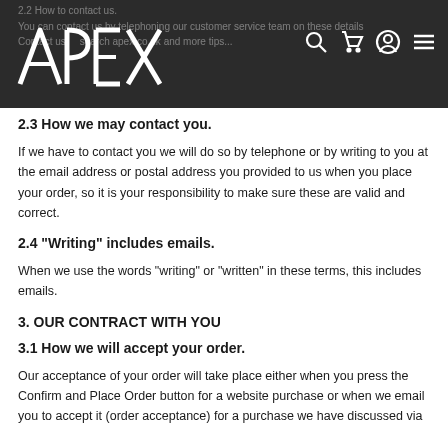APEX — website header with navigation icons (search, cart, account, menu)
2.3 How we may contact you.
If we have to contact you we will do so by telephone or by writing to you at the email address or postal address you provided to us when you place your order, so it is your responsibility to make sure these are valid and correct.
2.4 "Writing" includes emails.
When we use the words "writing" or "written" in these terms, this includes emails.
3. OUR CONTRACT WITH YOU
3.1 How we will accept your order.
Our acceptance of your order will take place either when you press the Confirm and Place Order button for a website purchase or when we email you to accept it (order acceptance) for a purchase we have discussed via